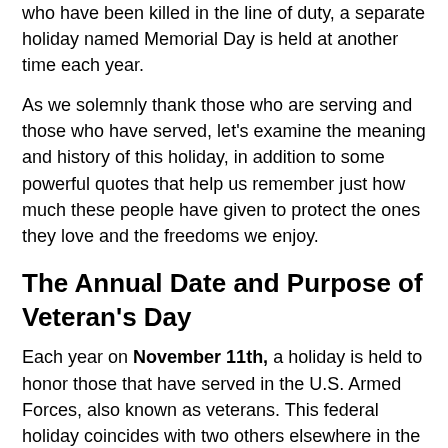who have been killed in the line of duty, a separate holiday named Memorial Day is held at another time each year.
As we solemnly thank those who are serving and those who have served, let's examine the meaning and history of this holiday, in addition to some powerful quotes that help us remember just how much these people have given to protect the ones they love and the freedoms we enjoy.
The Annual Date and Purpose of Veteran's Day
Each year on November 11th, a holiday is held to honor those that have served in the U.S. Armed Forces, also known as veterans. This federal holiday coincides with two others elsewhere in the world: Armistice Day, and Remembrance Day.
As a cumulative whole, those days are meant to mark the